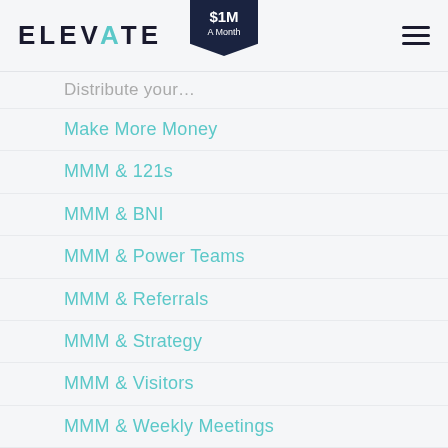ELEVATE | $1M A Month
Distribute your…
Make More Money
MMM & 121s
MMM & BNI
MMM & Power Teams
MMM & Referrals
MMM & Strategy
MMM & Visitors
MMM & Weekly Meetings
MMM With Reviews
MMM With Social Media
Networking Education
News